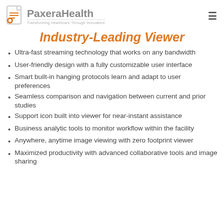PaxeraHealth – Transforming Healthcare Through Innovation
Industry-Leading Viewer
Ultra-fast streaming technology that works on any bandwidth
User-friendly design with a fully customizable user interface
Smart built-in hanging protocols learn and adapt to user preferences
Seamless comparison and navigation between current and prior studies
Support icon built into viewer for near-instant assistance
Business analytic tools to monitor workflow within the facility
Anywhere, anytime image viewing with zero footprint viewer
Maximized productivity with advanced collaborative tools and image sharing